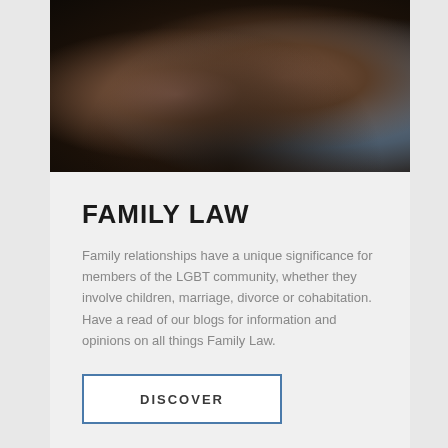[Figure (photo): Dark-toned photo of a family in an intimate moment, showing people embracing or touching, with warm skin tones against a dark background]
FAMILY LAW
Family relationships have a unique significance for members of the LGBT community, whether they involve children, marriage, divorce or cohabitation. Have a read of our blogs for information and opinions on all things Family Law.
DISCOVER